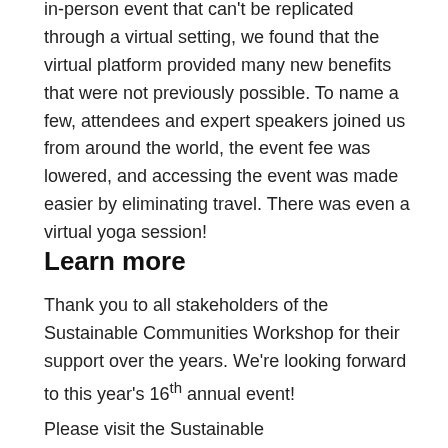in-person event that can't be replicated through a virtual setting, we found that the virtual platform provided many new benefits that were not previously possible. To name a few, attendees and expert speakers joined us from around the world, the event fee was lowered, and accessing the event was made easier by eliminating travel. There was even a virtual yoga session!
Learn more
Thank you to all stakeholders of the Sustainable Communities Workshop for their support over the years. We're looking forward to this year's 16th annual event!
Please visit the Sustainable